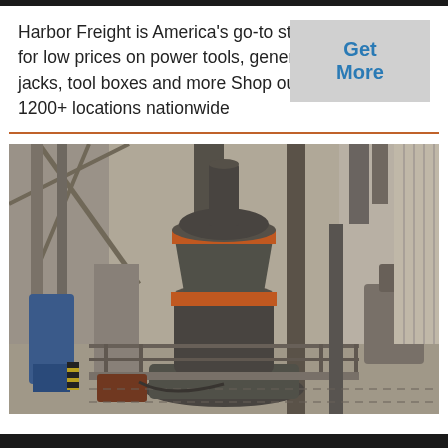Harbor Freight is America's go-to store for low prices on power tools, generators, jacks, tool boxes and more Shop our 1200+ locations nationwide
[Figure (photo): Industrial milling or grinding machine (large vertical mill/grinder) inside a factory/warehouse setting. The machine has a dark gray cylindrical body with orange accent rings, surrounded by metal scaffolding, pipes, and structural steel. Background shows warehouse walls and other industrial equipment.]